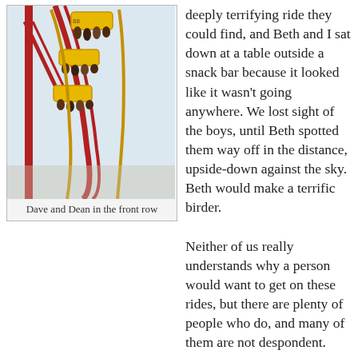[Figure (photo): Photo of a roller coaster with riders in yellow cars going upside-down on a loop, with red track structure visible against a pale sky. Dave and Dean visible in the front row.]
Dave and Dean in the front row
deeply terrifying ride they could find, and Beth and I sat down at a table outside a snack bar because it looked like it wasn't going anywhere. We lost sight of the boys, until Beth spotted them way off in the distance, upside-down against the sky. Beth would make a terrific birder.
Neither of us really understands why a person would want to get on these rides, but there are plenty of people who do, and many of them are not despondent.
Beth and I did gamely agree to climb aboard a tiny roller coaster that didn't get any more than six feet off the ground. Unfortunately, I still couldn't handle it. That sucker was taking the corners just a little too fast for safety, if you ask me. An